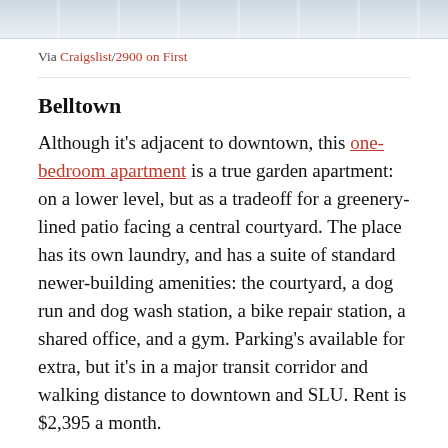[Figure (photo): Top portion of a photograph, light blue-gray tones, partially visible apartment or building exterior]
Via Craigslist/2900 on First
Belltown
Although it’s adjacent to downtown, this one-bedroom apartment is a true garden apartment: on a lower level, but as a tradeoff for a greenery-lined patio facing a central courtyard. The place has its own laundry, and has a suite of standard newer-building amenities: the courtyard, a dog run and dog wash station, a bike repair station, a shared office, and a gym. Parking’s available for extra, but it’s in a major transit corridor and walking distance to downtown and SLU. Rent is $2,395 a month.
CURBED SEATTLE